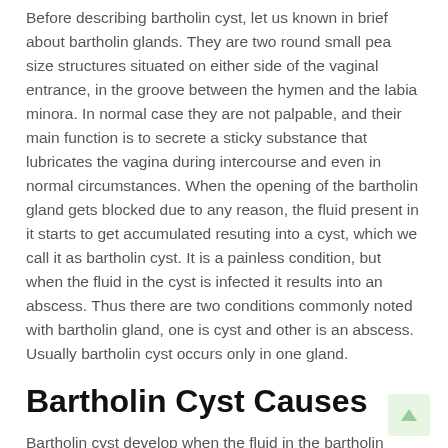Before describing bartholin cyst, let us known in brief about bartholin glands. They are two round small pea size structures situated on either side of the vaginal entrance, in the groove between the hymen and the labia minora. In normal case they are not palpable, and their main function is to secrete a sticky substance that lubricates the vagina during intercourse and even in normal circumstances. When the opening of the bartholin gland gets blocked due to any reason, the fluid present in it starts to get accumulated resuting into a cyst, which we call it as bartholin cyst. It is a painless condition, but when the fluid in the cyst is infected it results into an abscess. Thus there are two conditions commonly noted with bartholin gland, one is cyst and other is an abscess. Usually bartholin cyst occurs only in one gland.
Bartholin Cyst Causes
Bartholin cyst develop when the fluid in the bartholin gland